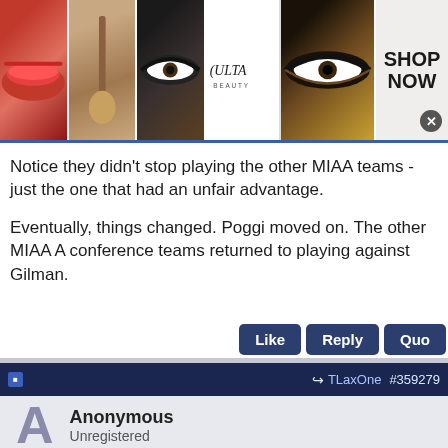[Figure (photo): Ulta Beauty advertisement banner showing makeup images (lips with lipstick, makeup brush, eye with eyeliner), Ulta Beauty logo, eye closeup, and SHOP NOW button]
Notice they didn't stop playing the other MIAA teams - just the one that had an unfair advantage.
Eventually, things changed. Poggi moved on. The other MIAA A conference teams returned to playing against Gilman.
Like   Reply   Quo
TLaxOne   #359279
Anonymous
Unregistered
[Figure (photo): Cheryl's Cookie Delivery advertisement with cookie image and link to cheryls.com]